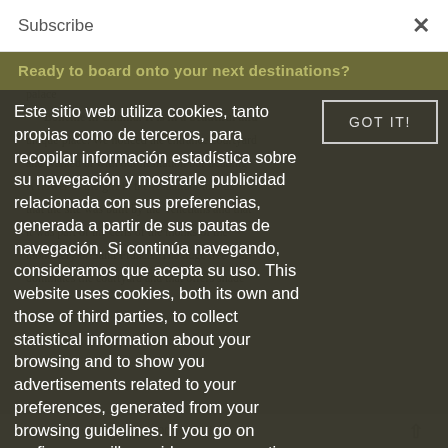Subscribe
[Figure (screenshot): Cookie consent modal overlay on a travel/tourism website. White top bar with 'Subscribe' label and close (×) button. Olive/dark green banner with bold colored text 'Ready to board onto your next destinations?'. Cookie notice text in white on dark background, with 'GOT IT!' button outlined in light grey on the right. Background shows dimmed article content about Boheme in Chania restaurant.]
Este sitio web utiliza cookies, tanto propias como de terceros, para recopilar información estadística sobre su navegación y mostrarle publicidad relacionada con sus preferencias, generada a partir de sus pautas de navegación. Si continúa navegando, consideramos que acepta su uso. This website uses cookies, both its own and those of third parties, to collect statistical information about your browsing and to show you advertisements related to your preferences, generated from your browsing guidelines. If you go on surfing, we will consider you accepting its use.